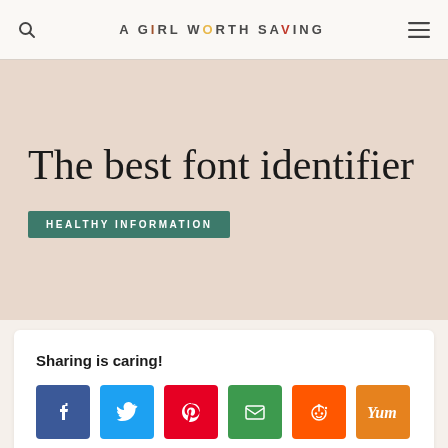A GIRL WORTH SAVING
The best font identifier
HEALTHY INFORMATION
Sharing is caring!
[Figure (other): Social sharing buttons: Facebook, Twitter, Pinterest, Email, Reddit, Yummly]